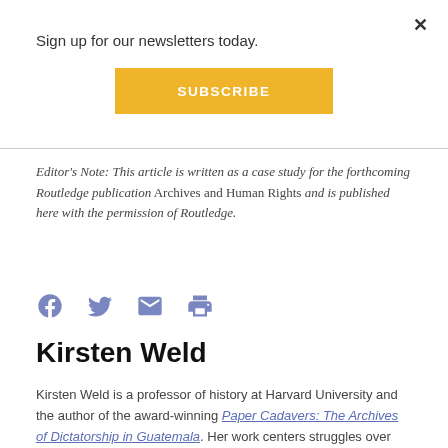Sign up for our newsletters today.
[Figure (other): Subscribe button (yellow/gold background, white bold text 'SUBSCRIBE')]
Editor's Note: This article is written as a case study for the forthcoming Routledge publication Archives and Human Rights and is published here with the permission of Routledge.
[Figure (other): Social sharing icons: Facebook, Twitter, Email, Print]
Kirsten Weld
Kirsten Weld is a professor of history at Harvard University and the author of the award-winning Paper Cadavers: The Archives of Dictatorship in Guatemala. Her work centers struggles over inequality, justice, historical memory, and soc...